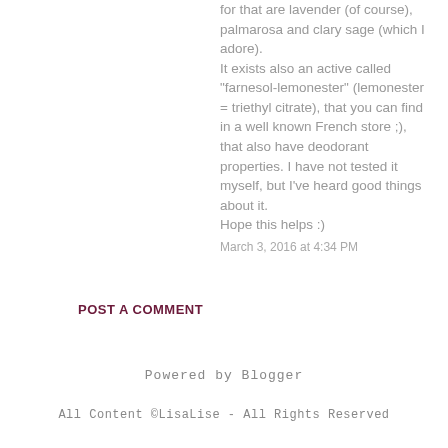for that are lavender (of course), palmarosa and clary sage (which I adore).
It exists also an active called "farnesol-lemonester" (lemonester = triethyl citrate), that you can find in a well known French store ;), that also have deodorant properties. I have not tested it myself, but I've heard good things about it.
Hope this helps :)
March 3, 2016 at 4:34 PM
POST A COMMENT
Powered by Blogger
All Content ©LisaLise - All Rights Reserved